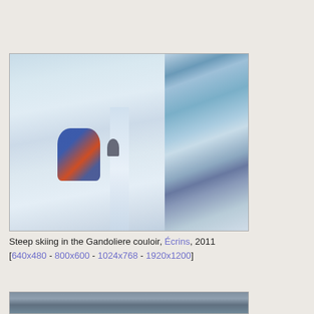[Figure (photo): Steep skiing in the Gandoliere couloir, Écrins, 2011. Photo shows a skier in blue jacket descending a steep snowy couloir with rocky walls, a second figure visible higher up in the couloir.]
Steep skiing in the Gandoliere couloir, Écrins, 2011 [640x480 - 800x600 - 1024x768 - 1920x1200]
[Figure (photo): Partial view of another mountain photo at the bottom of the page.]